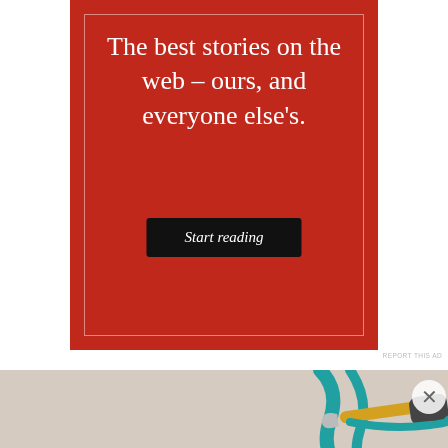[Figure (other): Red promotional advertisement banner with white text reading 'The best stories on the web – ours, and everyone else's.' with a black 'Start reading' button, and a thin white border inset.]
REPORT THIS AD
[Figure (photo): Close-up photograph of crochet work in progress showing teal/turquoise yarn on top and yellow yarn below, with a gold and dark gray crochet hook visible in the upper right.]
Advertisements
[Figure (other): Bloomingdale's advertisement banner showing logo, 'View Today's Top Deals!' text, a woman wearing a wide-brim navy hat, and a 'SHOP NOW >' button on the right.]